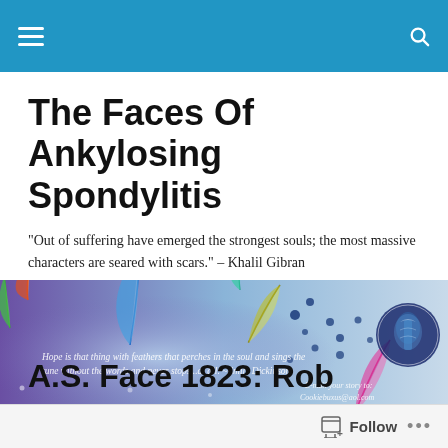The Faces Of Ankylosing Spondylitis
The Faces Of Ankylosing Spondylitis
"Out of suffering have emerged the strongest souls; the most massive characters are seared with scars." – Khalil Gibran
[Figure (illustration): Blog banner image with purple/blue gradient background featuring colorful feathers and an Emily Dickinson quote about hope. Text reads: 'Hope is that thing with feathers that perches in the soul and sings the tune without the words and never stops...at all. ~Emily Dickinson' with e-mail address Cookiebuxus@aol.com]
A.S. Face 1823: Rob
Follow